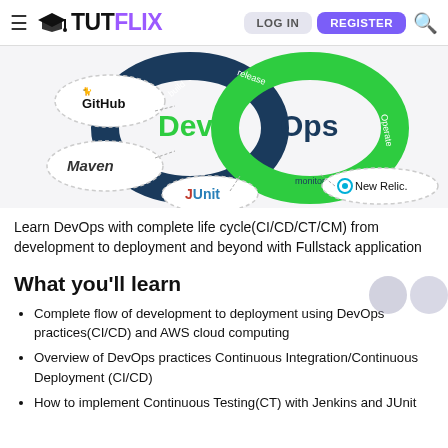≡ TUTFLIX LOG IN REGISTER 🔍
[Figure (infographic): DevOps infinity loop diagram showing Dev and Ops cycle with labels: build, release, operate, monitor, test. Tools connected: GitHub, Maven, JUnit, New Relic.]
Learn DevOps with complete life cycle(CI/CD/CT/CM) from development to deployment and beyond with Fullstack application
What you'll learn
Complete flow of development to deployment using DevOps practices(CI/CD) and AWS cloud computing
Overview of DevOps practices Continuous Integration/Continuous Deployment (CI/CD)
How to implement Continuous Testing(CT) with Jenkins and JUnit